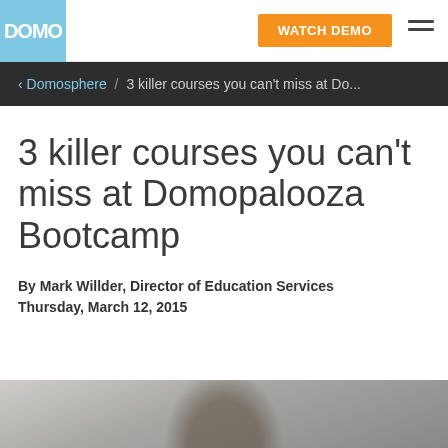DOMO | WATCH DEMO
‹ Domosphere / 3 killer courses you can't miss at Do...
3 killer courses you can't miss at Domopalooza Bootcamp
By Mark Willder, Director of Education Services
Thursday, March 12, 2015
[Figure (photo): Partial photo of a woman studying or looking down, shown from head/shoulders, cropped at bottom of page]